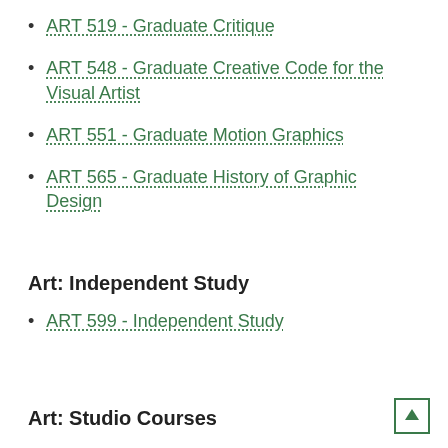ART 519 - Graduate Critique
ART 548 - Graduate Creative Code for the Visual Artist
ART 551 - Graduate Motion Graphics
ART 565 - Graduate History of Graphic Design
Art: Independent Study
ART 599 - Independent Study
Art: Studio Courses